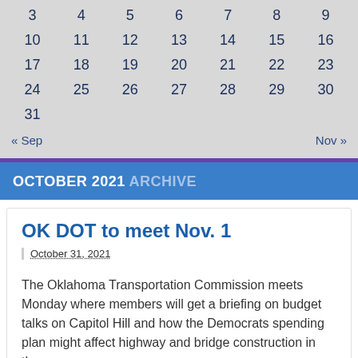| Sun | Mon | Tue | Wed | Thu | Fri | Sat |
| --- | --- | --- | --- | --- | --- | --- |
|  |  |  |  |  | 1 | 2 |
| 3 | 4 | 5 | 6 | 7 | 8 | 9 |
| 10 | 11 | 12 | 13 | 14 | 15 | 16 |
| 17 | 18 | 19 | 20 | 21 | 22 | 23 |
| 24 | 25 | 26 | 27 | 28 | 29 | 30 |
| 31 |  |  |  |  |  |  |
« Sep   Nov »
OCTOBER 2021 ARCHIVE
OK DOT to meet Nov. 1
October 31, 2021
The Oklahoma Transportation Commission meets Monday where members will get a briefing on budget talks on Capitol Hill and how the Democrats spending plan might affect highway and bridge construction in the